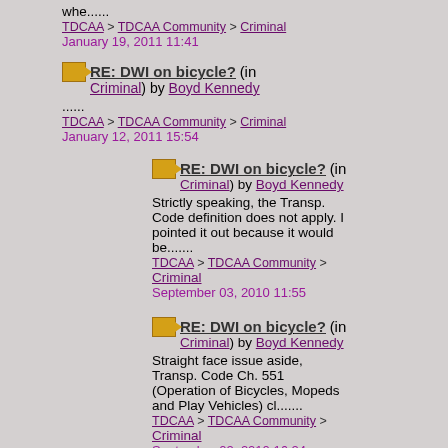whe......
TDCAA > TDCAA Community > Criminal
January 19, 2011 11:41
RE: DWI on bicycle? (in Criminal) by Boyd Kennedy
......
TDCAA > TDCAA Community > Criminal
January 12, 2011 15:54
RE: DWI on bicycle? (in Criminal) by Boyd Kennedy
Strictly speaking, the Transp. Code definition does not apply. I pointed it out because it would be.......
TDCAA > TDCAA Community > Criminal
September 03, 2010 11:55
RE: DWI on bicycle? (in Criminal) by Boyd Kennedy
Straight face issue aside, Transp. Code Ch. 551 (Operation of Bicycles, Mopeds and Play Vehicles) cl.......
TDCAA > TDCAA Community > Criminal
September 02, 2010 16:24